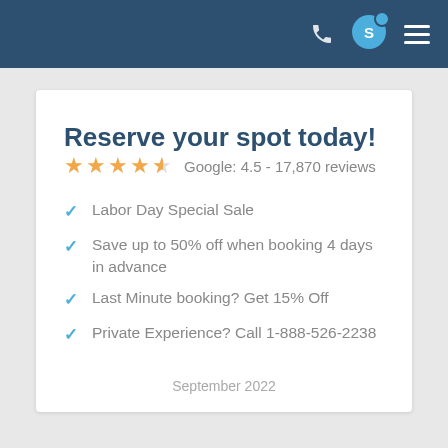Navigation bar with phone, avatar (S), and hamburger menu
Reserve your spot today!
Google: 4.5 - 17,870 reviews
Labor Day Special Sale
Save up to 50% off when booking 4 days in advance
Last Minute booking? Get 15% Off
Private Experience? Call 1-888-526-2238
September 2022